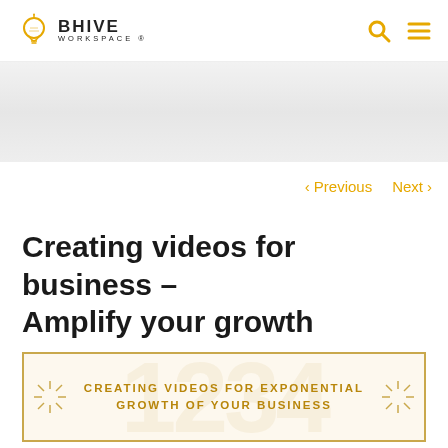BHIVE WORKSPACE
< Previous   Next >
Creating videos for business – Amplify your growth
[Figure (illustration): Promotional banner with gold border and text: CREATING VIDEOS FOR EXPONENTIAL GROWTH OF YOUR BUSINESS]